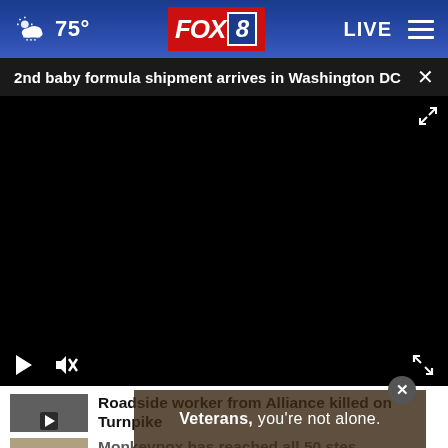75° FOX 8 LIVE
2nd baby formula shipment arrives in Washington DC
[Figure (screenshot): Black video player with play button, mute button, and fullscreen expand icon. Video content not visible (black screen).]
Roadside worker from Alliance killed on Turnpike
Veterans, you're not alone.
Monkeypox has reached all 50 states